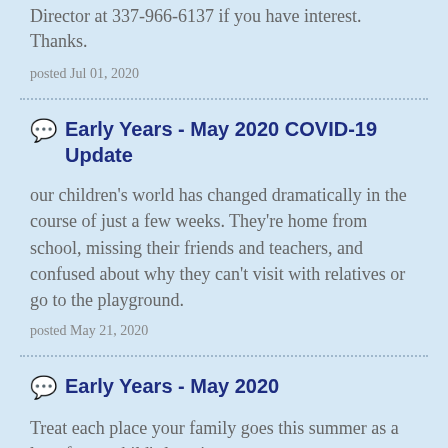Director at 337-966-6137 if you have interest. Thanks.
posted Jul 01, 2020
Early Years - May 2020 COVID-19 Update
our children's world has changed dramatically in the course of just a few weeks. They're home from school, missing their friends and teachers, and confused about why they can't visit with relatives or go to the playground.
posted May 21, 2020
Early Years - May 2020
Treat each place your family goes this summer as a leg of your child's learning